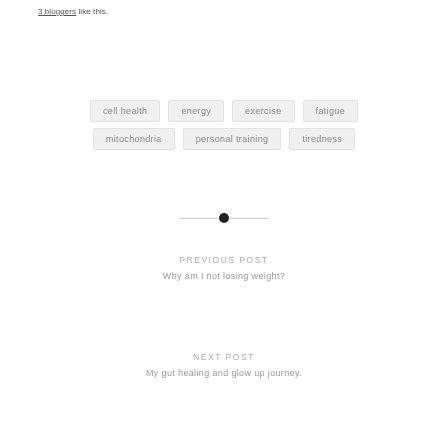3 bloggers like this.
cell health
energy
exercise
fatigue
mitochondria
personal training
tiredness
PREVIOUS POST
Why am I not losing weight?
NEXT POST
My gut healing and glow up journey.